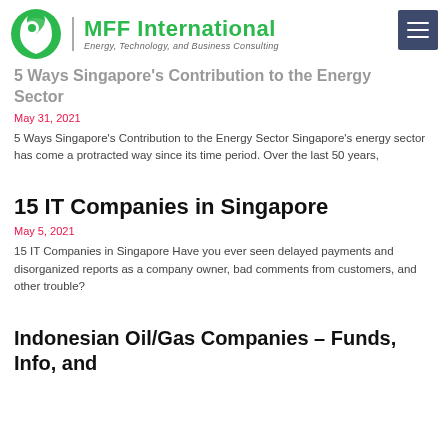MFF International — Energy, Technology, and Business Consulting
5 Ways Singapore's Contribution to the Energy Sector
May 31, 2021
5 Ways Singapore's Contribution to the Energy Sector Singapore's energy sector has come a protracted way since its time period. Over the last 50 years,
15 IT Companies in Singapore
May 5, 2021
15 IT Companies in Singapore Have you ever seen delayed payments and disorganized reports as a company owner, bad comments from customers, and other trouble?
Indonesian Oil/Gas Companies – Funds, Info, and